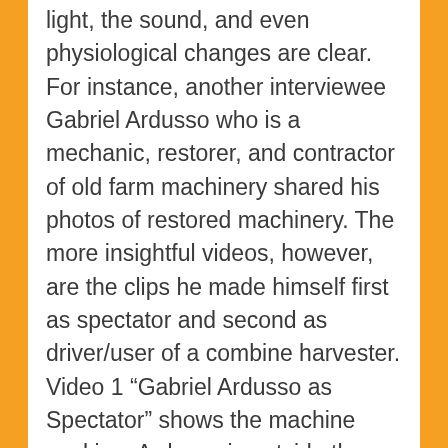light, the sound, and even physiological changes are clear. For instance, another interviewee Gabriel Ardusso who is a mechanic, restorer, and contractor of old farm machinery shared his photos of restored machinery. The more insightful videos, however, are the clips he made himself first as spectator and second as driver/user of a combine harvester. Video 1 “Gabriel Ardusso as Spectator” shows the machine working. Ardusso is outside the machine, filming as spectator. The handheld image is relatively stable, the sounds are both mechanical and natural, such as the crushing of the grass as he walks, and the wind blowing. Underneath it, we hear Ardusso’s breathing. The presumably annoyed driver honks as he passes by Ardusso who is dangerously close to the